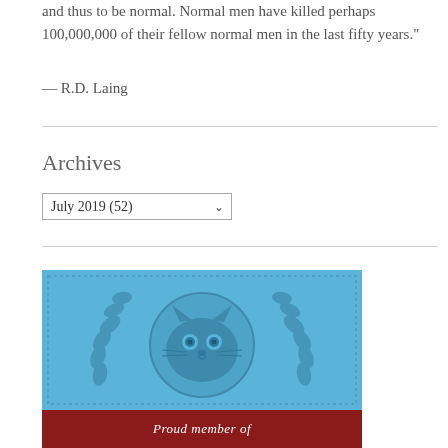and thus to be normal. Normal men have killed perhaps 100,000,000 of their fellow normal men in the last fifty years."
— R.D. Laing
Archives
July 2019  (52)
[Figure (illustration): Internet Defense League badge with a cartoon cat face surrounded by laurel leaves on a blue background, with 'Proud member of THE INTERNET DEFENSE LEAGUE' text on a dark red banner below.]